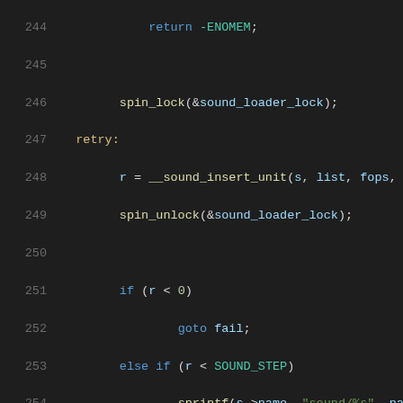[Figure (screenshot): Source code listing lines 244-265 of a C kernel sound driver file, showing spin_lock/unlock calls, conditional goto, sprintf calls, a comment block, and __register_chrdev call, displayed in a dark IDE theme with syntax highlighting.]